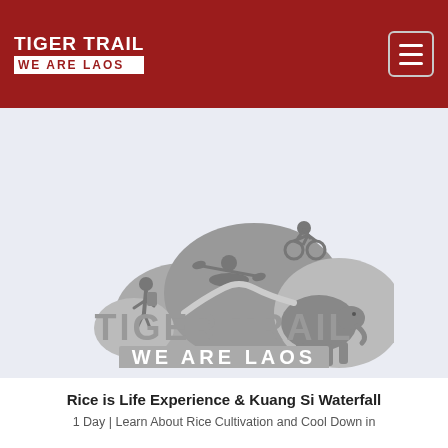TIGER TRAIL WE ARE LAOS
[Figure (logo): Tiger Trail We Are Laos logo in gray: silhouettes of a hiker, kayaker, mountain biker, and elephant on rocky terrain, with 'TIGER TRAIL' and 'WE ARE LAOS' text below in distressed font style]
Rice is Life Experience & Kuang Si Waterfall
1 Day | Learn About Rice Cultivation and Cool Down in